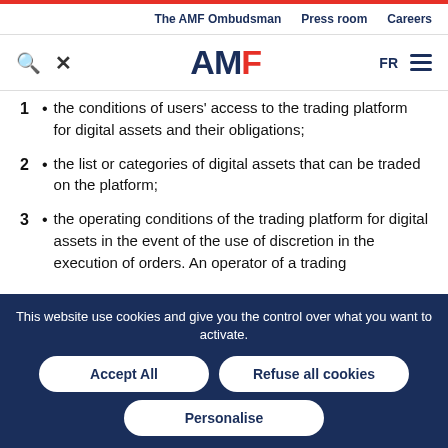The AMF Ombudsman | Press room | Careers
[Figure (logo): AMF logo with search and menu icons]
1 • the conditions of users' access to the trading platform for digital assets and their obligations;
2 • the list or categories of digital assets that can be traded on the platform;
3 • the operating conditions of the trading platform for digital assets in the event of the use of discretion in the execution of orders. An operator of a trading
This website use cookies and give you the control over what you want to activate.